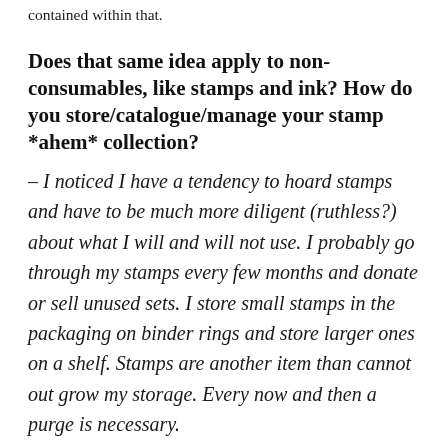contained within that.
Does that same idea apply to non-consumables, like stamps and ink? How do you store/catalogue/manage your stamp *ahem* collection?
– I noticed I have a tendency to hoard stamps and have to be much more diligent (ruthless?) about what I will and will not use. I probably go through my stamps every few months and donate or sell unused sets. I store small stamps in the packaging on binder rings and store larger ones on a shelf. Stamps are another item than cannot out grow my storage. Every now and then a purge is necessary.